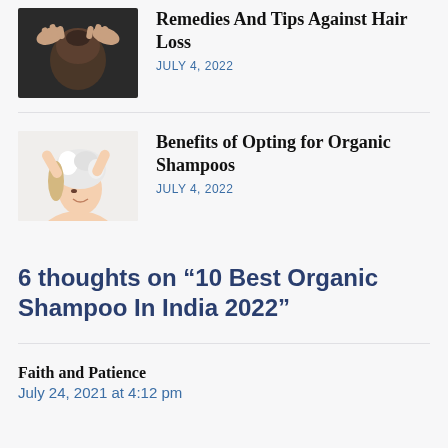[Figure (photo): Photo of a person touching their scalp/hair loss area]
Remedies And Tips Against Hair Loss
JULY 4, 2022
[Figure (photo): Photo of a woman washing her hair with shampoo]
Benefits of Opting for Organic Shampoos
JULY 4, 2022
6 thoughts on “10 Best Organic Shampoo In India 2022”
Faith and Patience
July 24, 2021 at 4:12 pm